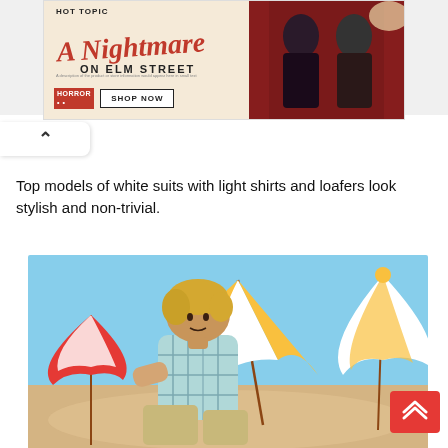[Figure (photo): Hot Topic advertisement banner for 'A Nightmare on Elm Street' merchandise with shop now button and photo of two young people]
Top models of white suits with light shirts and loafers look stylish and non-trivial.
[Figure (photo): Young male model with curly blonde hair sitting on beach sand wearing a plaid shirt, with colorful beach umbrellas in background]